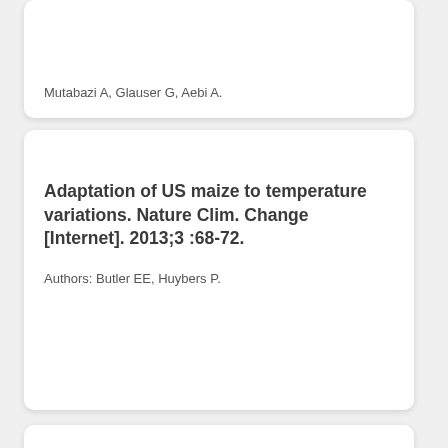Mutabazi A, Glauser G, Aebi A.
Adaptation of US maize to temperature variations. Nature Clim. Change [Internet]. 2013;3 :68-72.
Authors: Butler EE, Huybers P.
Addressing challenges to human health in the Anthropocene